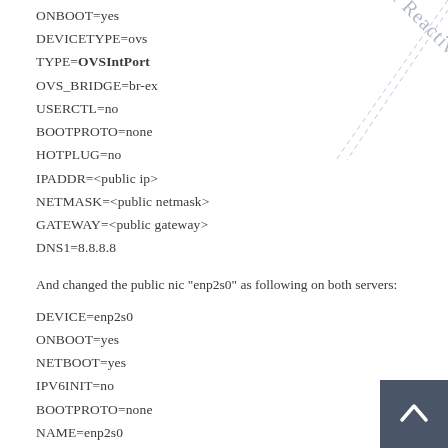ONBOOT=yes
DEVICETYPE=ovs
TYPE=OVSIntPort
OVS_BRIDGE=br-ex
USERCTL=no
BOOTPROTO=none
HOTPLUG=no
IPADDR=<public ip>
NETMASK=<public netmask>
GATEWAY=<public gateway>
DNS1=8.8.8.8
And changed the public nic "enp2s0" as following on both servers:
DEVICE=enp2s0
ONBOOT=yes
NETBOOT=yes
IPV6INIT=no
BOOTPROTO=none
NAME=enp2s0